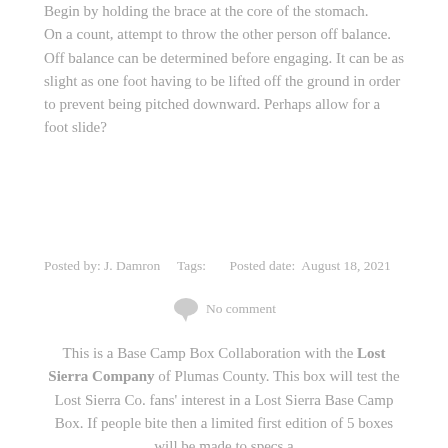Begin by holding the brace at the core of the stomach.
On a count, attempt to throw the other person off balance. Off balance can be determined before engaging. It can be as slight as one foot having to be lifted off the ground in order to prevent being pitched downward. Perhaps allow for a foot slide?
Posted by: J. Damron    Tags:        Posted date:  August 18, 2021
No comment
This is a Base Camp Box Collaboration with the Lost Sierra Company of Plumas County. This box will test the Lost Sierra Co. fans' interest in a Lost Sierra Base Camp Box. If people bite then a limited first edition of 5 boxes will be made to specs a